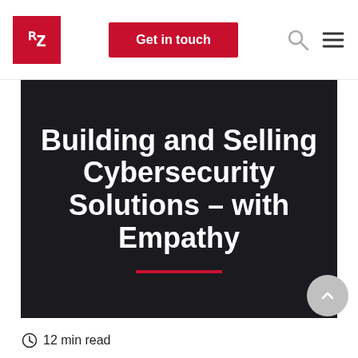RZ | Get in touch
[Figure (illustration): Dark hero banner with large bold white text: 'Building and Selling Cybersecurity Solutions – with Empathy', with a red horizontal rule beneath the text]
12 min read